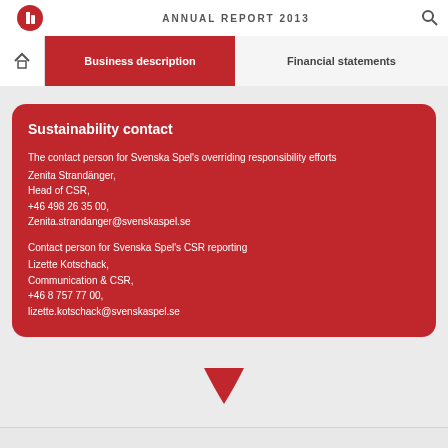ANNUAL REPORT 2013
Business description
Financial statements
Sustainability contact
The contact person for Svenska Spel's overriding responsibility efforts
Zenita Strandänger,
Head of CSR,
+46 498 26 35 00,
Zenita.strandanger@svenskaspel.se
Contact person for Svenska Spel's CSR reporting
Lizette Kotschack,
Communication & CSR,
+46 8 757 77 00,
lizette.kotschack@svenskaspel.se